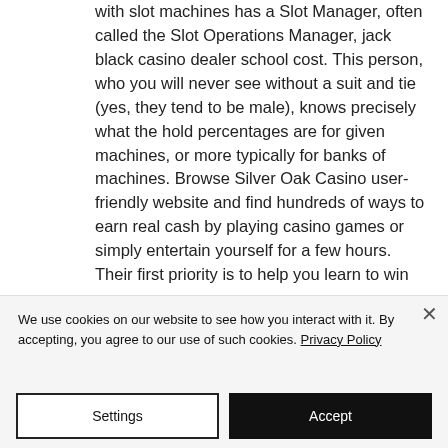with slot machines has a Slot Manager, often called the Slot Operations Manager, jack black casino dealer school cost. This person, who you will never see without a suit and tie (yes, they tend to be male), knows precisely what the hold percentages are for given machines, or more typically for banks of machines. Browse Silver Oak Casino user-friendly website and find hundreds of ways to earn real cash by playing casino games or simply entertain yourself for a few hours. Their first priority is to help you learn to win big prizes in their online
We use cookies on our website to see how you interact with it. By accepting, you agree to our use of such cookies. Privacy Policy
Settings
Accept